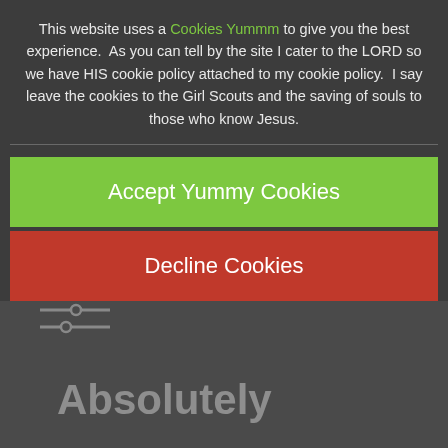This website uses a Cookies Yummm to give you the best experience.  As you can tell by the site I cater to the LORD so we have HIS cookie policy attached to my cookie policy.  I say leave the cookies to the Girl Scouts and the saving of souls to those who know Jesus.
Accept Yummy Cookies
Decline Cookies
Absolutely
Battle / White Horse England >
0 Comments
We cannot call ourselves Christians who reject the truth that is absolutely forbidden when we know God empirically replaces its measure. Those who would deny truth are in the other room on tiptoe by lea until they learn it. Those who reject the policy need...